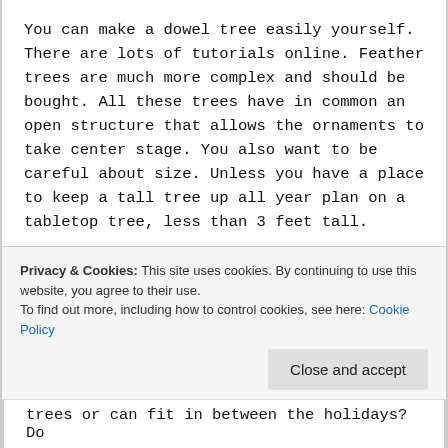You can make a dowel tree easily yourself. There are lots of tutorials online. Feather trees are much more complex and should be bought. All these trees have in common an open structure that allows the ornaments to take center stage. You also want to be careful about size. Unless you have a place to keep a tall tree up all year plan on a tabletop tree, less than 3 feet tall.
Once you have your tree, collect your finished ornaments. Gather them all together and divide them into groups of
Privacy & Cookies: This site uses cookies. By continuing to use this website, you agree to their use.
To find out more, including how to control cookies, see here: Cookie Policy
trees or can fit in between the holidays? Do